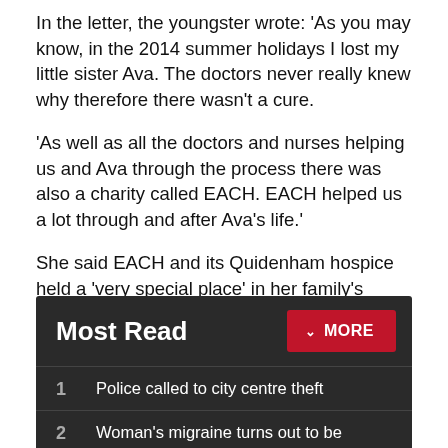In the letter, the youngster wrote: 'As you may know, in the 2014 summer holidays I lost my little sister Ava. The doctors never really knew why therefore there wasn't a cure.
'As well as all the doctors and nurses helping us and Ava through the process there was also a charity called EACH. EACH helped us a lot through and after Ava's life.'
She said EACH and its Quidenham hospice held a 'very special place' in her family's heart, and said the charity was still supporting them now.
Most Read
1  Police called to city centre theft
2  Woman's migraine turns out to be incurable eye cancer